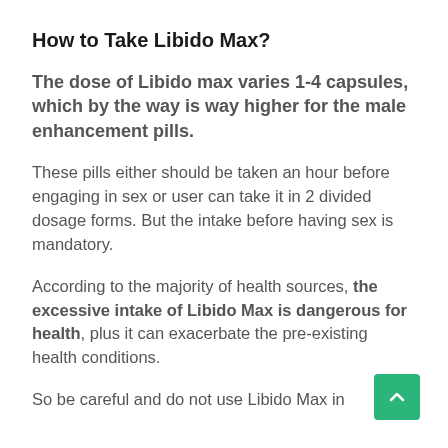How to Take Libido Max?
The dose of Libido max varies 1-4 capsules, which by the way is way higher for the male enhancement pills.
These pills either should be taken an hour before engaging in sex or user can take it in 2 divided dosage forms. But the intake before having sex is mandatory.
According to the majority of health sources, the excessive intake of Libido Max is dangerous for health, plus it can exacerbate the pre-existing health conditions.
So be careful and do not use Libido Max in